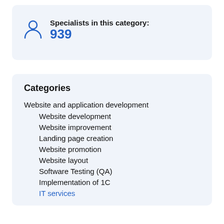Specialists in this category: 939
Categories
Website and application development
Website development
Website improvement
Landing page creation
Website promotion
Website layout
Software Testing (QA)
Implementation of 1C
IT services